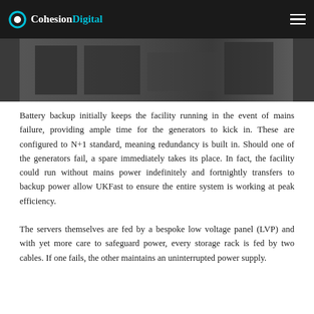CohesionDigital
[Figure (photo): Dark interior photo of a data centre facility, showing server equipment in a dimly lit room.]
Battery backup initially keeps the facility running in the event of mains failure, providing ample time for the generators to kick in. These are configured to N+1 standard, meaning redundancy is built in. Should one of the generators fail, a spare immediately takes its place. In fact, the facility could run without mains power indefinitely and fortnightly transfers to backup power allow UKFast to ensure the entire system is working at peak efficiency.
The servers themselves are fed by a bespoke low voltage panel (LVP) and with yet more care to safeguard power, every storage rack is fed by two cables. If one fails, the other maintains an uninterrupted power supply.